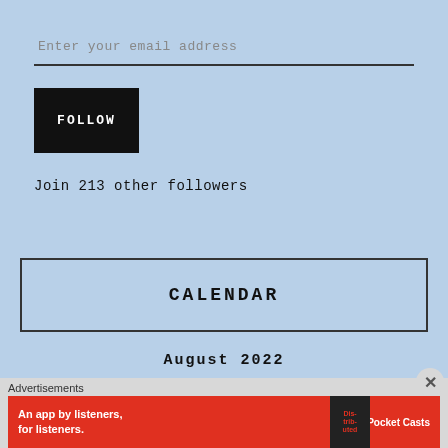Enter your email address
FOLLOW
Join 213 other followers
CALENDAR
August 2022
Advertisements
[Figure (other): Pocket Casts advertisement banner: An app by listeners, for listeners.]